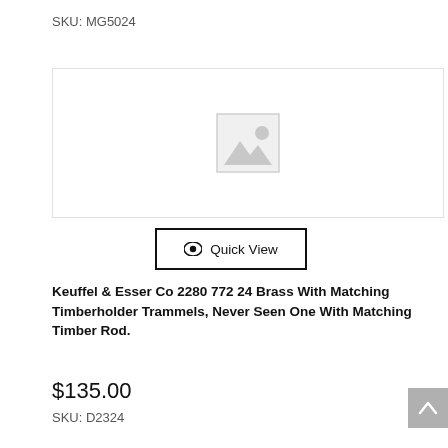SKU: MG5024
[Figure (other): Placeholder product image with grey mountain/landscape icon]
Quick View
Keuffel & Esser Co 2280 772 24 Brass With Matching Timberholder Trammels, Never Seen One With Matching Timber Rod.
$135.00
SKU: D2324
[Figure (other): Placeholder product image with grey mountain/landscape icon]